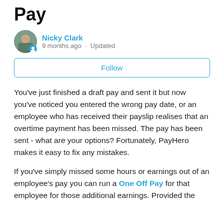Pay
[Figure (photo): Author avatar photo of Nicky Clark with a teal user badge icon overlay]
Nicky Clark
9 months ago · Updated
Follow
You've just finished a draft pay and sent it but now you've noticed you entered the wrong pay date, or an employee who has received their payslip realises that an overtime payment has been missed. The pay has been sent - what are your options? Fortunately, PayHero makes it easy to fix any mistakes.
If you've simply missed some hours or earnings out of an employee's pay you can run a One Off Pay for that employee for those additional earnings. Provided the ...